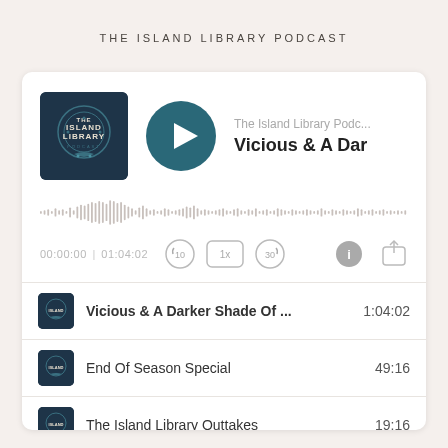THE ISLAND LIBRARY PODCAST
[Figure (screenshot): Podcast player UI with album art, play button, and track info showing 'The Island Library Podc...' and 'Vicious & A Dar']
[Figure (other): Audio waveform display]
[Figure (screenshot): Playback controls: 00:00:00 | 01:04:02, rewind 10s, 1x speed, forward 30s, info, share buttons]
Vicious & A Darker Shade Of ... 1:04:02
End Of Season Special 49:16
The Island Library Outtakes 19:16
House of Hollow & Serpent and D... 1:02:04
Ace of Spades 40:27